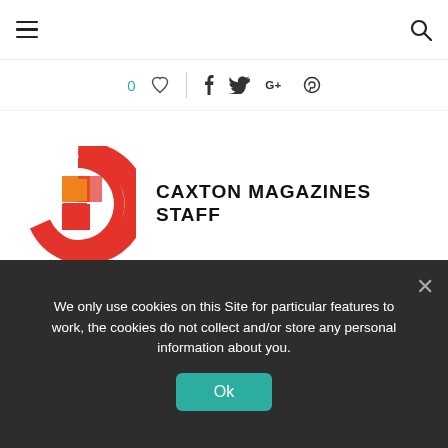Navigation header with hamburger menu and search icon
0 ♡ | f t G+ ⊕
[Figure (logo): Caxton Magazines circular logo with a C shape made of red and orange segments on a white circular background]
CAXTON MAGAZINES STAFF
Taboola Feed
[Figure (photo): Two side-by-side photos: left shows a person in white bridal attire, right shows a person near electronics equipment]
We only use cookies on this Site for particular features to work, the cookies do not collect and/or store any personal information about you.